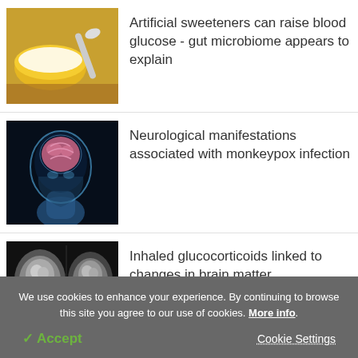[Figure (photo): Photo of artificial sweetener in a yellow bowl with sugar and a spoon]
Artificial sweeteners can raise blood glucose - gut microbiome appears to explain
[Figure (photo): Medical illustration of a human head with brain highlighted, blue X-ray style]
Neurological manifestations associated with monkeypox infection
[Figure (photo): Brain MRI scan image, grayscale]
Inhaled glucocorticoids linked to changes in brain matter
We use cookies to enhance your experience. By continuing to browse this site you agree to our use of cookies. More info.